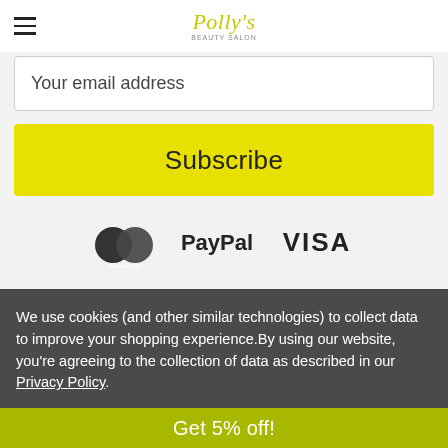Polly's
Your email address
Subscribe
[Figure (logo): Payment logos: MasterCard, PayPal, VISA]
We use cookies (and other similar technologies) to collect data to improve your shopping experience.By using our website, you're agreeing to the collection of data as described in our Privacy Policy.
Get 5% off!